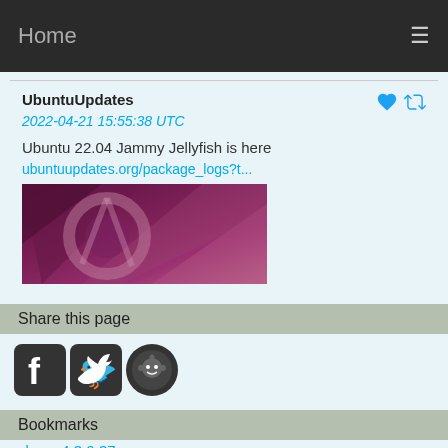Home
UbuntuUpdates
2022-04-21 15:55:38 UTC
Ubuntu 22.04 Jammy Jellyfish is here
ubuntuupdates.org/package_logs?t...
[Figure (illustration): Ubuntu 22.04 Jammy Jellyfish promotional banner with purple/magenta gradient and abstract geometric shapes]
Share this page
[Figure (logo): Social media icons: Facebook, Twitter, Reddit]
Bookmarks
skype 4.3.0.37
virtualbox-4.3 4.3.40-110317
steam 1:1.0.0.74